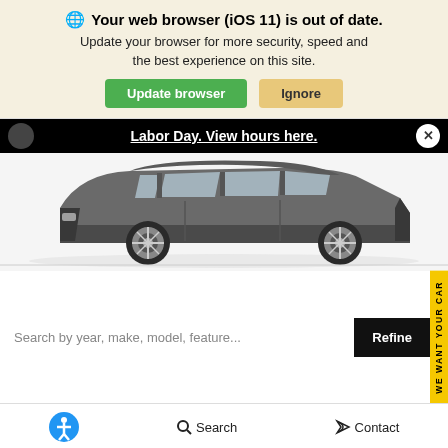Your web browser (iOS 11) is out of date. Update your browser for more security, speed and the best experience on this site.
Update browser | Ignore
Labor Day. View hours here.
[Figure (photo): Side view of a gray Nissan Murano SUV on a white background]
Search by year, make, model, feature...
Refine
WE WANT YOUR CAR
IN TRANSIT
NEW 2023
NISSAN MURANO SL
Stock:
Search
Contact